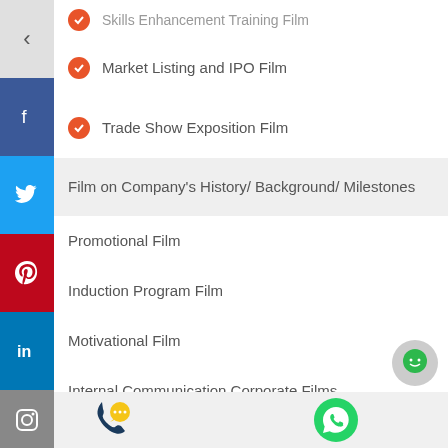Skills Enhancement Training Film
Market Listing and IPO Film
Trade Show Exposition Film
Film on Company's History/ Background/ Milestones
Promotional Film
Induction Program Film
Motivational Film
Internal Communication Corporate Films
Corporate Identity Film
Product Information Film
[Figure (infographic): Social media sidebar with back arrow, Facebook, Twitter, Pinterest, LinkedIn, Instagram, YouTube icons; bottom bar with phone and WhatsApp icons; green chat bubble bottom right]